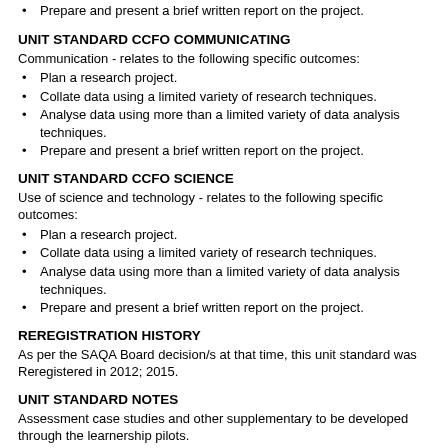Prepare and present a brief written report on the project.
UNIT STANDARD CCFO COMMUNICATING
Communication - relates to the following specific outcomes:
Plan a research project.
Collate data using a limited variety of research techniques.
Analyse data using more than a limited variety of data analysis techniques.
Prepare and present a brief written report on the project.
UNIT STANDARD CCFO SCIENCE
Use of science and technology - relates to the following specific outcomes:
Plan a research project.
Collate data using a limited variety of research techniques.
Analyse data using more than a limited variety of data analysis techniques.
Prepare and present a brief written report on the project.
REREGISTRATION HISTORY
As per the SAQA Board decision/s at that time, this unit standard was Reregistered in 2012; 2015.
UNIT STANDARD NOTES
Assessment case studies and other supplementary to be developed through the learnership pilots.
QUALIFICATIONS UTILISING THIS UNIT STANDARD:
|  |  |  | PRE- |  |  | PR |
| --- | --- | --- | --- | --- | --- | --- |